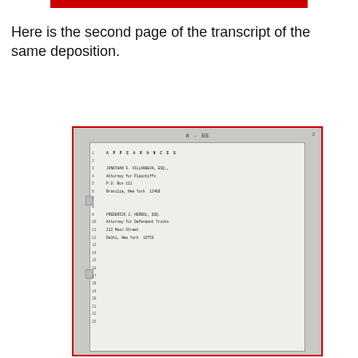Here is the second page of the transcript of the same deposition.
[Figure (photo): Scanned legal deposition transcript page labeled K-55, showing appearances section with attorney names: Jonathan S. Villanueva, Esq., Attorney for Plaintiffs, P.O. Box 111, Brasilia, New York 12468; and Frederick J. Herbol, Esq., Attorney for Defendant Trucks, 212 Main Street, Delhi, New York 13753. Page has numbered lines 1-25 with content only in lines 1-9.]